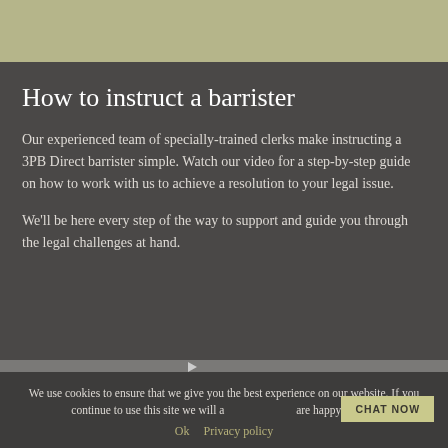How to instruct a barrister
Our experienced team of specially-trained clerks make instructing a 3PB Direct barrister simple. Watch our video for a step-by-step guide on how to work with us to achieve a resolution to your legal issue.
We'll be here every step of the way to support and guide you through the legal challenges at hand.
We use cookies to ensure that we give you the best experience on our website. If you continue to use this site we will assume that you are happy with it.
Ok   Privacy policy